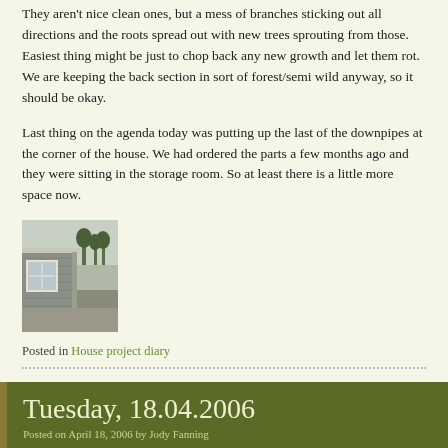They aren't nice clean ones, but a mess of branches sticking out all directions and the roots spread out with new trees sprouting from those. Easiest thing might be just to chop back any new growth and let them rot. We are keeping the back section in sort of forest/semi wild anyway, so it should be okay.
Last thing on the agenda today was putting up the last of the downpipes at the corner of the house. We had ordered the parts a few months ago and they were sitting in the storage room. So at least there is a little more space now.
[Figure (photo): Photo of a house corner showing siding, a window, and outdoor surroundings with trees in background]
Posted in House project diary
Tuesday, 18.04.2006
Posted on April 18, 2006 by Jody Fanning